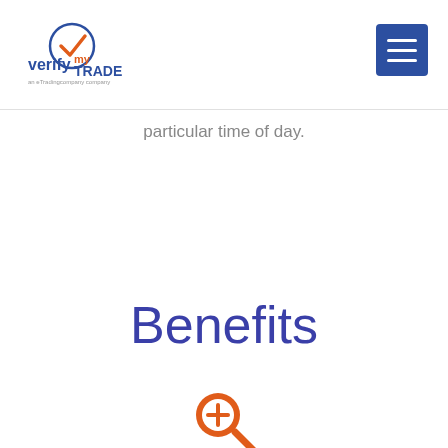[Figure (logo): VerifyMyTrade logo with orange checkmark and blue/orange text, 'an eTradingcompany company' tagline below]
[Figure (screenshot): Blue hamburger menu button (three horizontal white lines) in top right corner]
particular time of day.
Benefits
[Figure (illustration): Orange magnifying glass with plus sign icon]